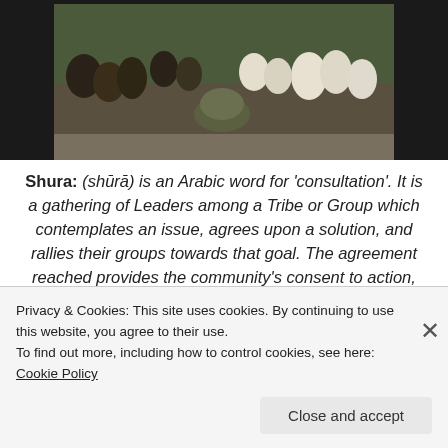[Figure (photo): Photograph of people gathered outdoors, some in military gear, sitting on the ground in a group setting resembling a tribal consultation (shura).]
Shura: (shūrā) is an Arabic word for 'consultation'. It is a gathering of Leaders among a Tribe or Group which contemplates an issue, agrees upon a solution, and rallies their groups towards that goal. The agreement reached provides the community's consent to action, recognizing the authority of the community and accepting the burden of consequence.
Privacy & Cookies: This site uses cookies. By continuing to use this website, you agree to their use.
To find out more, including how to control cookies, see here: Cookie Policy
Close and accept